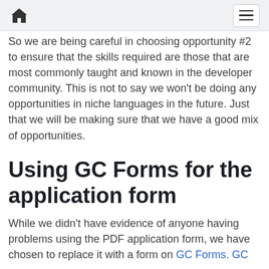[Home icon] [Menu button]
So we are being careful in choosing opportunity #2 to ensure that the skills required are those that are most commonly taught and known in the developer community. This is not to say we won't be doing any opportunities in niche languages in the future. Just that we will be making sure that we have a good mix of opportunities.
Using GC Forms for the application form
While we didn't have evidence of anyone having problems using the PDF application form, we have chosen to replace it with a form on GC Forms. GC